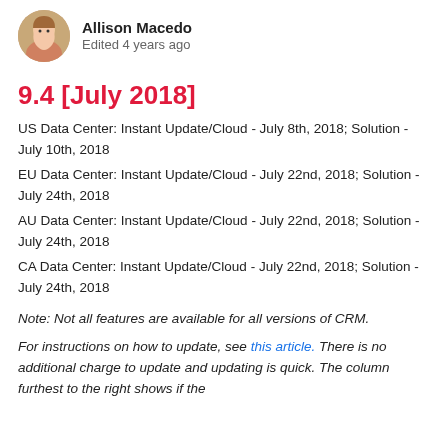Allison Macedo
Edited 4 years ago
9.4 [July 2018]
US Data Center: Instant Update/Cloud - July 8th, 2018; Solution - July 10th, 2018
EU Data Center: Instant Update/Cloud - July 22nd, 2018; Solution - July 24th, 2018
AU Data Center: Instant Update/Cloud - July 22nd, 2018; Solution - July 24th, 2018
CA Data Center: Instant Update/Cloud - July 22nd, 2018; Solution - July 24th, 2018
Note: Not all features are available for all versions of CRM.
For instructions on how to update, see this article. There is no additional charge to update and updating is quick. The column furthest to the right shows if the